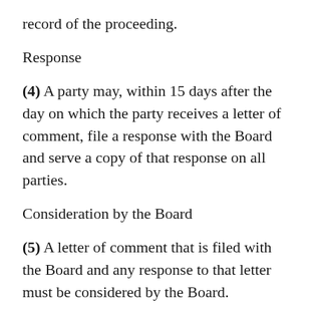record of the proceeding.
Response
(4) A party may, within 15 days after the day on which the party receives a letter of comment, file a response with the Board and serve a copy of that response on all parties.
Consideration by the Board
(5) A letter of comment that is filed with the Board and any response to that letter must be considered by the Board.
Status